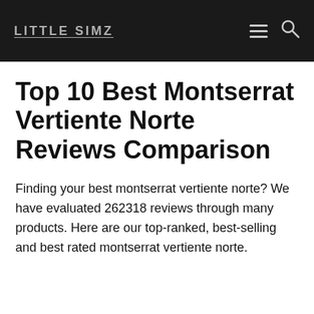LITTLE SIMZ
Top 10 Best Montserrat Vertiente Norte Reviews Comparison
Finding your best montserrat vertiente norte? We have evaluated 262318 reviews through many products. Here are our top-ranked, best-selling and best rated montserrat vertiente norte.